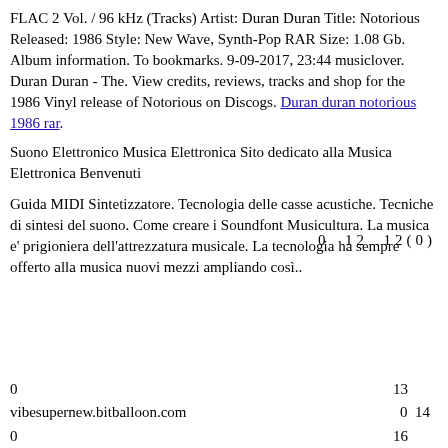FLAC 2 Vol. / 96 kHz (Tracks) Artist: Duran Duran Title: Notorious Released: 1986 Style: New Wave, Synth-Pop RAR Size: 1.08 Gb. Album information. To bookmarks. 9-09-2017, 23:44 musiclover. Duran Duran - The. View credits, reviews, tracks and shop for the 1986 Vinyl release of Notorious on Discogs. Duran duran notorious 1986 rar.
Suono Elettronico Musica Elettronica Sito dedicato alla Musica Elettronica Benvenuti
Guida MIDI Sintetizzatore. Tecnologia delle casse acustiche. Tecniche di sintesi del suono. Come creare i Soundfont Musicultura. La musica e' prigioniera dell'attrezzatura musicale. La tecnologia ha sempre offerto alla musica nuovi mezzi ampliando così..
0   12   12(0)
0   13
vibesupernew.bitballoon.com   0   14
0   16
0   17
Post navigation